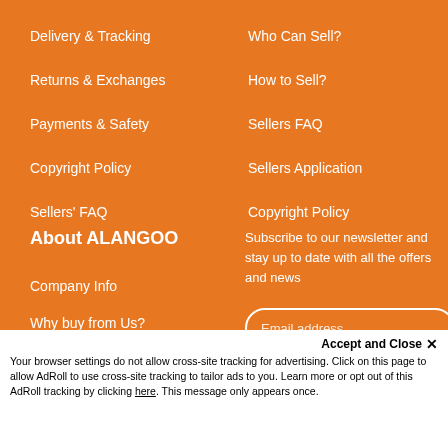Delivery & Tracking
Returns & Exchanges
Payments & Safety
Copyright Policy
Sellers' FAQ
Who Can Sell?
How to Sell?
Sellers FAQ
Sellers Application
Copyright Policy
About ALANGOO
Company Info
Why buy from Us?
Subscribe to our newsletter and stay up to date with all the offers and news
Email address
Accept and Close ✕
Your browser settings do not allow cross-site tracking for advertising. Click on this page to allow AdRoll to use cross-site tracking to tailor ads to you. Learn more or opt out of this AdRoll tracking by clicking here. This message only appears once.